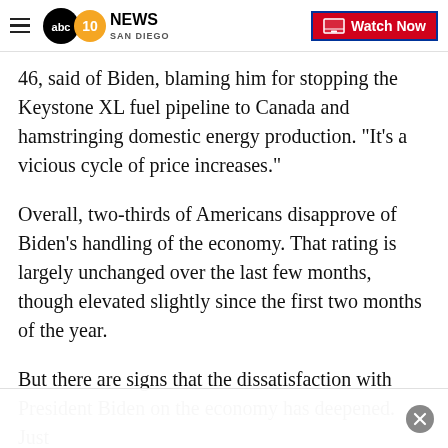ABC 10News San Diego — Watch Now
46, said of Biden, blaming him for stopping the Keystone XL fuel pipeline to Canada and hamstringing domestic energy production. "It's a vicious cycle of price increases."
Overall, two-thirds of Americans disapprove of Biden's handling of the economy. That rating is largely unchanged over the last few months, though elevated slightly since the first two months of the year.
But there are signs that the dissatisfaction with President Biden on the economy has deepened. Just